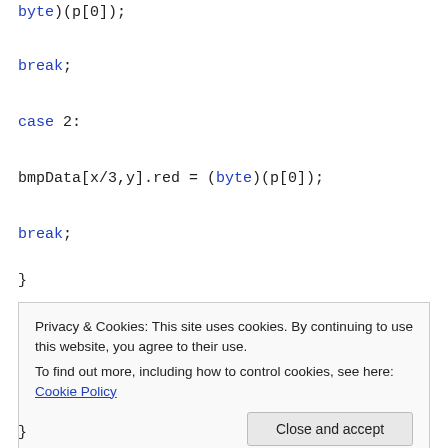byte)(p[0]);
break;
case 2:
bmpData[x/3,y].red = (byte)(p[0]);
break;
}
Privacy & Cookies: This site uses cookies. By continuing to use this website, you agree to their use.
To find out more, including how to control cookies, see here: Cookie Policy
}